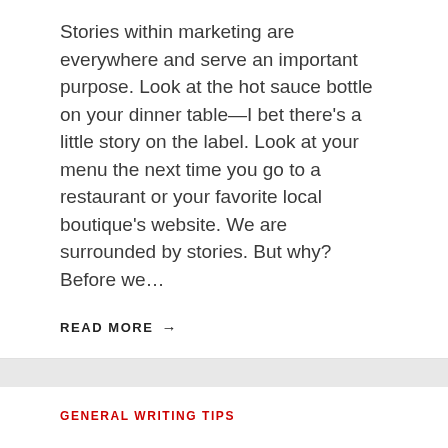Stories within marketing are everywhere and serve an important purpose. Look at the hot sauce bottle on your dinner table—I bet there's a little story on the label. Look at your menu the next time you go to a restaurant or your favorite local boutique's website. We are surrounded by stories. But why? Before we…
READ MORE →
GENERAL WRITING TIPS
Do you use dashes correctly?